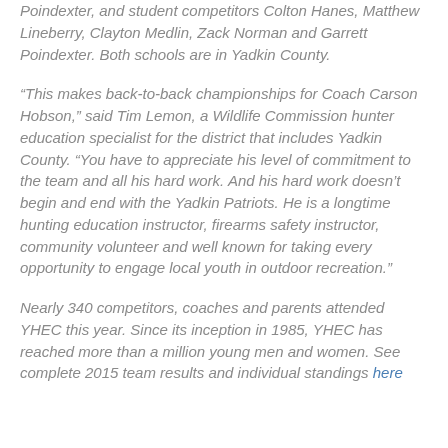Poindexter, and student competitors Colton Hanes, Matthew Lineberry, Clayton Medlin, Zack Norman and Garrett Poindexter. Both schools are in Yadkin County.
“This makes back-to-back championships for Coach Carson Hobson,” said Tim Lemon, a Wildlife Commission hunter education specialist for the district that includes Yadkin County. “You have to appreciate his level of commitment to the team and all his hard work. And his hard work doesn’t begin and end with the Yadkin Patriots. He is a longtime hunting education instructor, firearms safety instructor, community volunteer and well known for taking every opportunity to engage local youth in outdoor recreation.”
Nearly 340 competitors, coaches and parents attended YHEC this year. Since its inception in 1985, YHEC has reached more than a million young men and women. See complete 2015 team results and individual standings here.